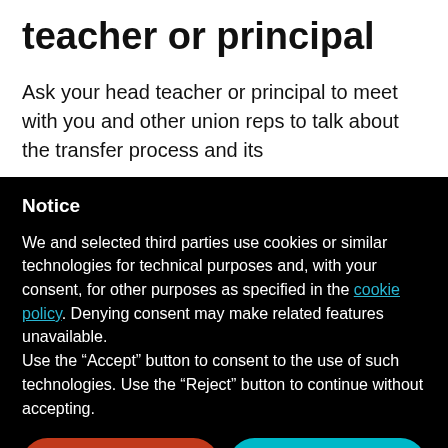teacher or principal
Ask your head teacher or principal to meet with you and other union reps to talk about the transfer process and its
Notice
We and selected third parties use cookies or similar technologies for technical purposes and, with your consent, for other purposes as specified in the cookie policy. Denying consent may make related features unavailable.
Use the “Accept” button to consent to the use of such technologies. Use the “Reject” button to continue without accepting.
Reject
Accept
Learn more and customize